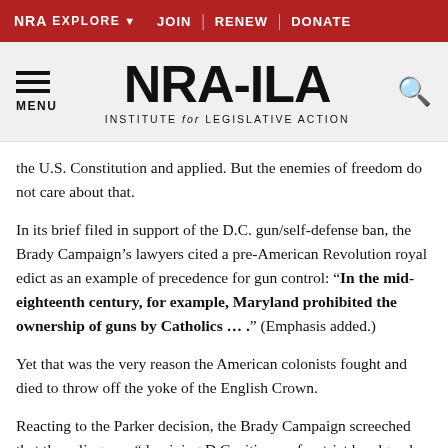NRA EXPLORE  JOIN | RENEW | DONATE
[Figure (logo): NRA-ILA Institute for Legislative Action logo with hamburger menu and search icon]
the U.S. Constitution and applied. But the enemies of freedom do not care about that.
In its brief filed in support of the D.C. gun/self-defense ban, the Brady Campaign’s lawyers cited a pre-American Revolution royal edict as an example of precedence for gun control: “In the mid-eighteenth century, for example, Maryland prohibited the ownership of guns by Catholics … .” (Emphasis added.)
Yet that was the very reason the American colonists fought and died to throw off the yoke of the English Crown.
Reacting to the Parker decision, the Brady Campaign screeched that the ruling was “depriving D.C. citizens of a strict handgun law enacted thirty years ago.”
The truth is that D.C. residents--good, honest, hard-working families and